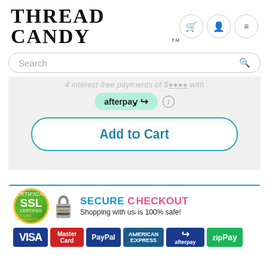THREAD CANDY™
Search
4 interest-free payments of $[amount] with
[Figure (logo): Afterpay logo badge with info icon]
[Figure (other): Add to Cart button with teal border]
[Figure (infographic): Secure Checkout banner with SSL certified badge, padlock icon, SECURE CHECKOUT text, payment method icons including VISA, MasterCard, PayPal, American Express, afterpay, zipPay]